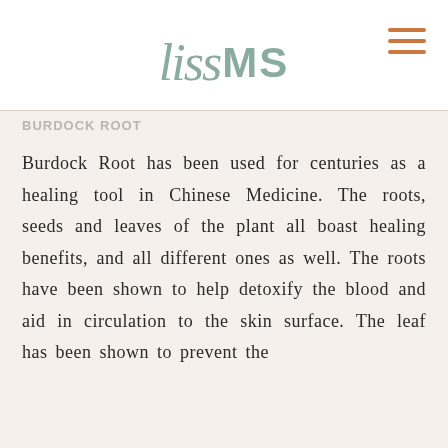[Figure (logo): LissMS brand logo with cursive script 'liss' in sage green and bold 'MS' in sage green, plus hamburger menu icon in terracotta orange on the right]
BURDOCK ROOT
Burdock Root has been used for centuries as a healing tool in Chinese Medicine. The roots, seeds and leaves of the plant all boast healing benefits, and all different ones as well. The roots have been shown to help detoxify the blood and aid in circulation to the skin surface. The leaf has been shown to prevent the